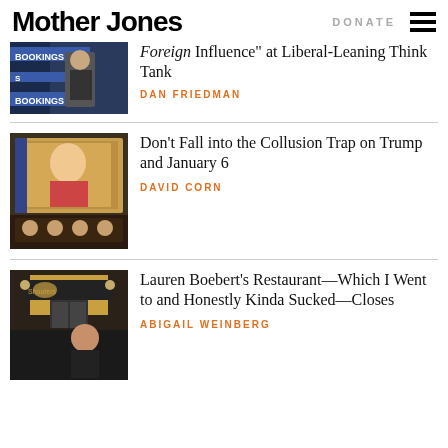Mother Jones | DONATE
[Figure (photo): Speaker at Brookings Institution podium, partial/cropped at top]
Foreign Influence at Liberal-Leaning Think Tank
DAN FRIEDMAN
[Figure (photo): January 6 hearing with Trump on large screen behind panel]
Don't Fall into the Collusion Trap on Trump and January 6
DAVID CORN
[Figure (photo): Lauren Boebert standing outside her Shooters restaurant]
Lauren Boebert's Restaurant—Which I Went to and Honestly Kinda Sucked—Closes
ABIGAIL WEINBERG